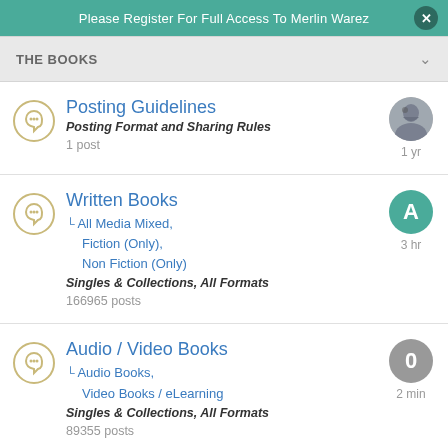Please Register For Full Access To Merlin Warez
THE BOOKS
Posting Guidelines | Posting Format and Sharing Rules | 1 post | 1 yr
Written Books | All Media Mixed, Fiction (Only), Non Fiction (Only) | Singles & Collections, All Formats | 166965 posts | 3 hr
Audio / Video Books | Audio Books, Video Books / eLearning | Singles & Collections, All Formats | 89355 posts | 2 min